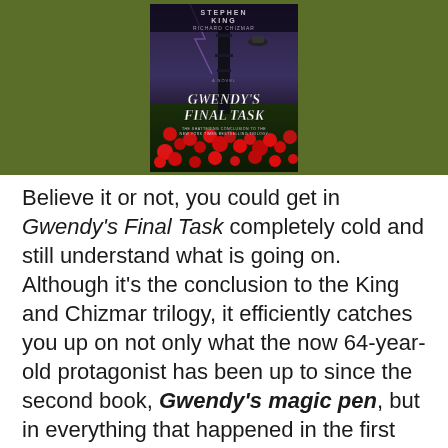[Figure (other): Book cover of 'Gwendy's Final Task' by Stephen King and Richard Chizmar, showing a dark tower/spire scene with red poppy flowers at the bottom, against an olive/dark green background.]
Believe it or not, you could get in Gwendy's Final Task completely cold and still understand what is going on. Although it's the conclusion to the King and Chizmar trilogy, it efficiently catches you up on not only what the now 64-year-old protagonist has been up to since the second book, Gwendy's magic pen, but in everything that happened in the first two novels. From her receiving the mysterious (yet possibly destructive) box of buttons from an